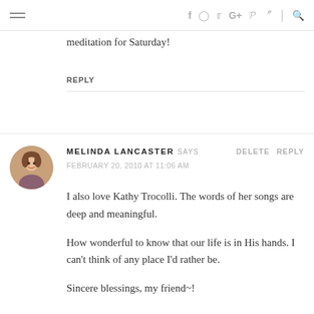navigation bar with hamburger menu and social icons
meditation for Saturday!
REPLY
MELINDA LANCASTER SAYS
FEBRUARY 20, 2010 AT 11:06 AM
DELETE  REPLY
I also love Kathy Trocolli. The words of her songs are deep and meaningful.

How wonderful to know that our life is in His hands. I can't think of any place I'd rather be.

Sincere blessings, my friend~!